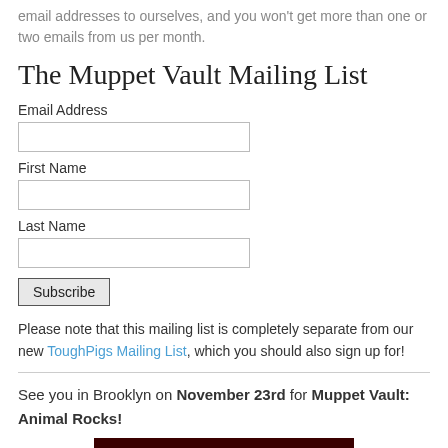email addresses to ourselves, and you won't get more than one or two emails from us per month.
The Muppet Vault Mailing List
Email Address
First Name
Last Name
Subscribe
Please note that this mailing list is completely separate from our new ToughPigs Mailing List, which you should also sign up for!
See you in Brooklyn on November 23rd for Muppet Vault: Animal Rocks!
[Figure (photo): Dark reddish photo strip at the bottom of the page]